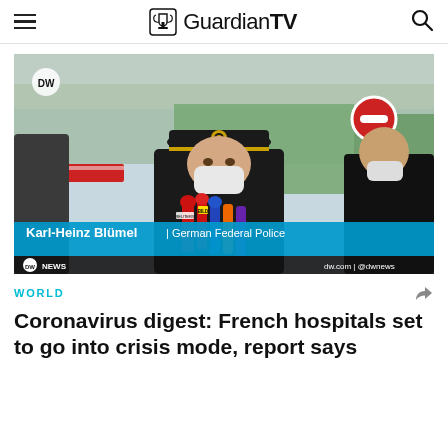GuardianTV
[Figure (photo): Press conference scene outdoors with a police officer in uniform and face mask speaking at multiple microphones (Reuters, Bild, ARD). Lower-third text: Karl-Heinz Blümel | German Federal Police. DW News branding visible. Another person in black coat visible to the right.]
WORLD
Coronavirus digest: French hospitals set to go into crisis mode, report says